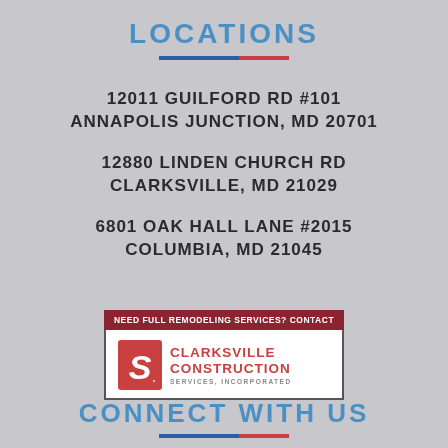LOCATIONS
12011 GUILFORD RD #101
ANNAPOLIS JUNCTION, MD 20701
12880 LINDEN CHURCH RD
CLARKSVILLE, MD 21029
6801 OAK HALL LANE #2015
COLUMBIA, MD 21045
[Figure (logo): Clarksville Construction Services, Incorporated logo with red header reading NEED FULL REMODELING SERVICES? CONTACT]
CONNECT WITH US